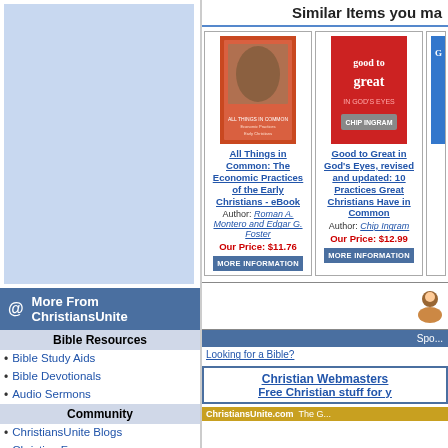Similar Items you may like
[Figure (illustration): Book cover: All Things in Common: The Economic Practices of the Early Christians - eBook]
All Things in Common: The Economic Practices of the Early Christians - eBook
Author: Roman A. Montero and Edgar G. Foster
Our Price: $11.76
MORE INFORMATION
[Figure (illustration): Book cover: Good to Great in God's Eyes, revised and updated: 10 Practices Great Christians Have in Common]
Good to Great in God's Eyes, revised and updated: 10 Practices Great Christians Have in Common
Author: Chip Ingram
Our Price: $12.99
MORE INFORMATION
[Figure (illustration): Partial book cover (cropped): Good to Great in God's... Practices Christians Common]
Author:
Our P...
MORE I...
More From ChristiansUnite
Bible Resources
Bible Study Aids
Bible Devotionals
Audio Sermons
Community
ChristiansUnite Blogs
Christian Forums
Facebook Apps
Web Search
Christian Family Sites
Top Christian Sites
Christian RSS Feeds
Family Life
Christian Finance
ChristiansUnite KIDS
Sponsored
Looking for a Bible?
Christian Webmasters
Free Christian stuff for y...
ChristiansUnite.com  The G...